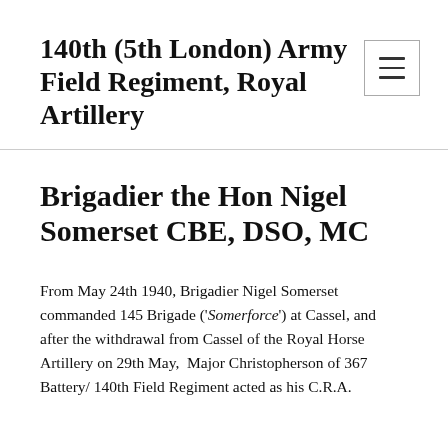140th (5th London) Army Field Regiment, Royal Artillery
Brigadier the Hon Nigel Somerset CBE, DSO, MC
From May 24th 1940, Brigadier Nigel Somerset commanded 145 Brigade ('Somerforce') at Cassel, and after the withdrawal from Cassel of the Royal Horse Artillery on 29th May,  Major Christopherson of 367 Battery/ 140th Field Regiment acted as his C.R.A.